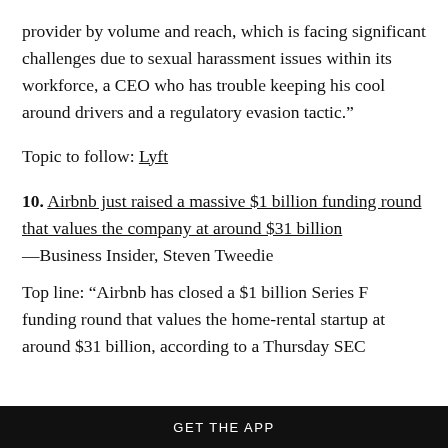provider by volume and reach, which is facing significant challenges due to sexual harassment issues within its workforce, a CEO who has trouble keeping his cool around drivers and a regulatory evasion tactic.”
Topic to follow: Lyft
10. Airbnb just raised a massive $1 billion funding round that values the company at around $31 billion —Business Insider, Steven Tweedie
Top line: “Airbnb has closed a $1 billion Series F funding round that values the home-rental startup at around $31 billion, according to a Thursday SEC
GET THE APP